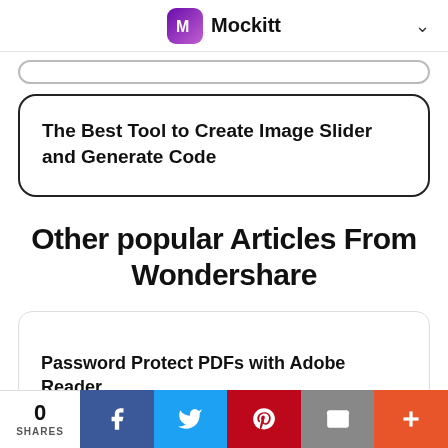Mockitt
The Best Tool to Create Image Slider and Generate Code
Other popular Articles From Wondershare
Password Protect PDFs with Adobe Reader
0 SHARES